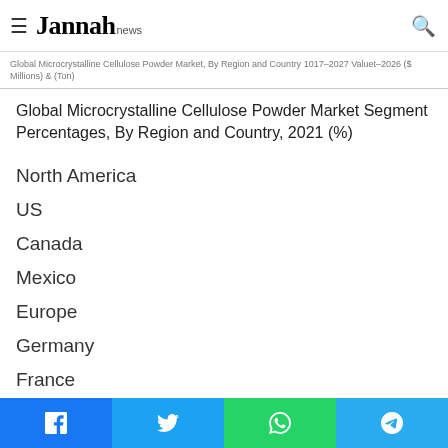Jannah news
Global Microcrystalline Cellulose Powder Market Segment Percentages, By Region and Country, 2021 (%)
North America
US
Canada
Mexico
Europe
Germany
France
U.K.
Italy
Russia
Social share: Facebook, Twitter, WhatsApp, Telegram